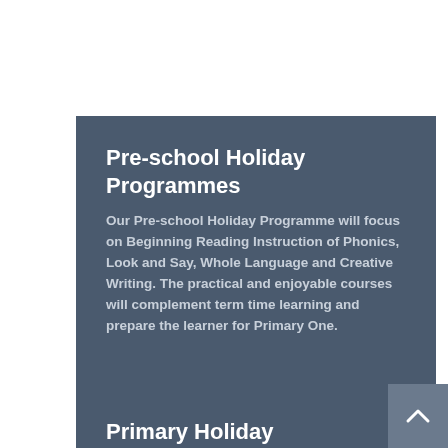Pre-school Holiday Programmes
Our Pre-school Holiday Programme will focus on Beginning Reading Instruction of Phonics, Look and Say, Whole Language and Creative Writing. The practical and enjoyable courses will complement term time learning and prepare the learner for Primary One.
Primary Holiday Programmes